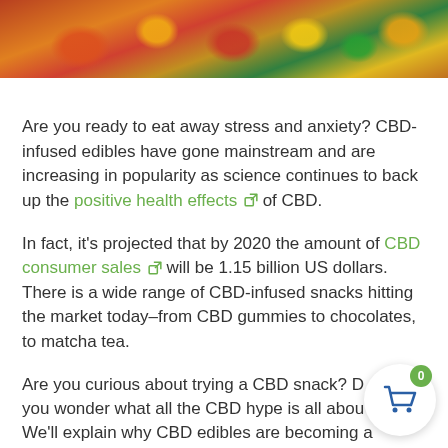[Figure (photo): Close-up photo of colorful CBD gummy candies in red, orange, yellow and green colors]
Are you ready to eat away stress and anxiety? CBD-infused edibles have gone mainstream and are increasing in popularity as science continues to back up the positive health effects ↗ of CBD.
In fact, it's projected that by 2020 the amount of CBD consumer sales ↗ will be 1.15 billion US dollars. There is a wide range of CBD-infused snacks hitting the market today–from CBD gummies to chocolates, to matcha tea.
Are you curious about trying a CBD snack? Do you wonder what all the CBD hype is all about
We'll explain why CBD edibles are becoming a